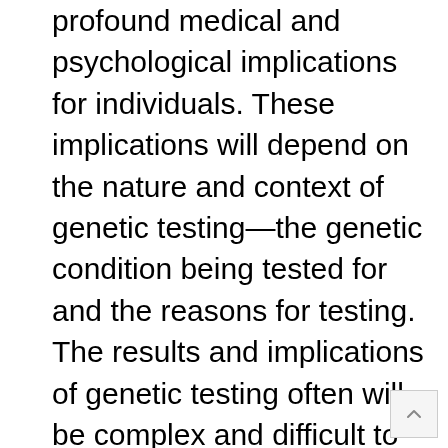profound medical and psychological implications for individuals. These implications will depend on the nature and context of genetic testing—the genetic condition being tested for and the reasons for testing. The results and implications of genetic testing often will be complex and difficult to understand and it is therefore critically important that individuals are provided with appropriate information about a genetic test and, in some cases, assisted in decision making through genetic